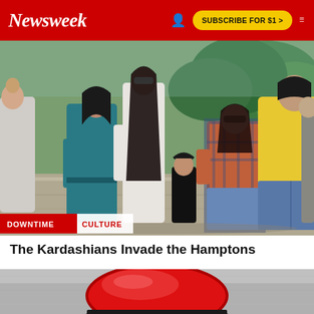Newsweek | SUBSCRIBE FOR $1 >
[Figure (photo): Group of people including Kardashian family members walking outdoors, with green trees in background. Woman in teal dress, woman in white top with long dark hair, woman in plaid shirt with sunglasses, man in yellow sweater and jeans, and others.]
DOWNTIME  CULTURE
The Kardashians Invade the Hamptons
[Figure (photo): Close-up of a large red circular button or disc object against a grey concrete or stone background.]